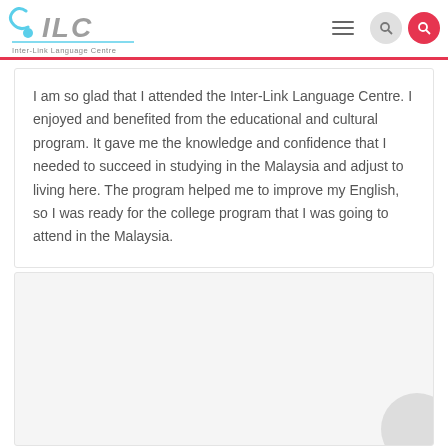ILC Inter-Link Language Centre
I am so glad that I attended the Inter-Link Language Centre. I enjoyed and benefited from the educational and cultural program. It gave me the knowledge and confidence that I needed to succeed in studying in the Malaysia and adjust to living here. The program helped me to improve my English, so I was ready for the college program that I was going to attend in the Malaysia.
[Figure (other): Empty lower card section with partial circle visible in lower right corner]